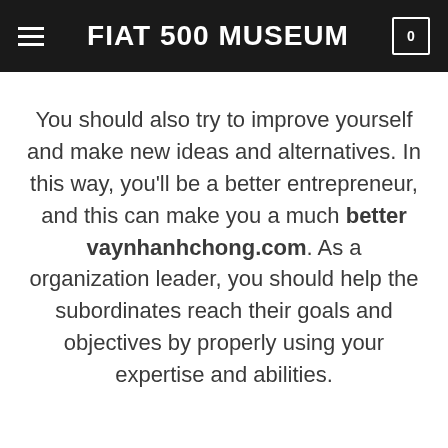FIAT 500 MUSEUM
You should also try to improve yourself and make new ideas and alternatives. In this way, you'll be a better entrepreneur, and this can make you a much better vaynhanhchong.com. As a organization leader, you should help the subordinates reach their goals and objectives by properly using your expertise and abilities.